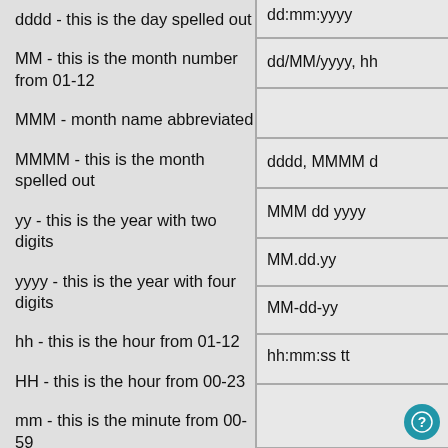dddd - this is the day spelled out
MM - this is the month number from 01-12
MMM - month name abbreviated
MMMM - this is the month spelled out
yy - this is the year with two digits
yyyy - this is the year with four digits
hh - this is the hour from 01-12
HH - this is the hour from 00-23
mm - this is the minute from 00-59
ss - this is the second from 00-59
tt - this shows either AM or PM
| Format |
| --- |
| dd:mm:yyyy (partial, top) |
| dd/MM/yyyy, hh |
|  |
| dddd, MMMM d |
| MMM dd yyyy |
| MM.dd.yy |
| MM-dd-yy |
| hh:mm:ss tt |
|  |